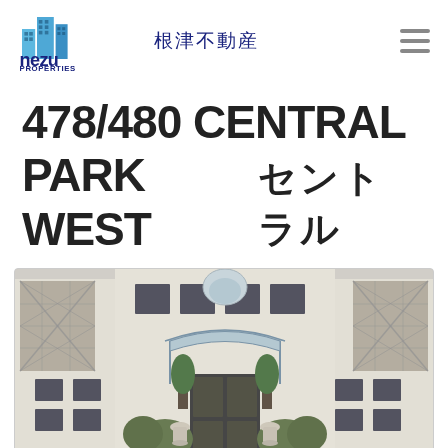根津不動産
478/480 CENTRAL PARK WEST　セントラルパークウエスト
[Figure (photo): Exterior photo of 478/480 Central Park West building showing the entrance canopy, front facade with windows, fire escape on left, landscaping with bushes, and decorative urns flanking the entrance steps.]